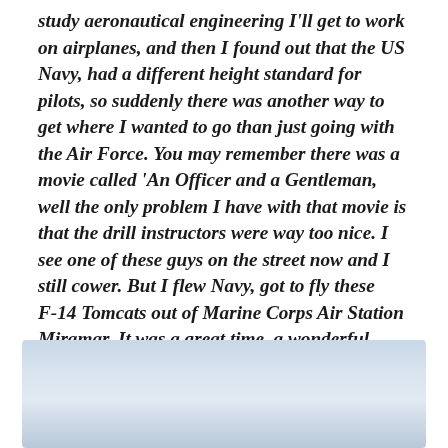study aeronautical engineering I'll get to work on airplanes, and then I found out that the US Navy, had a different height standard for pilots, so suddenly there was another way to get where I wanted to go than just going with the Air Force. You may remember there was a movie called 'An Officer and a Gentleman, well the only problem I have with that movie is that the drill instructors were way too nice. I see one of these guys on the street now and I still cower. But I flew Navy, got to fly these F-14 Tomcats out of Marine Corps Air Station Miramar. It was a great time, a wonderful airplane, lots of power, lots of options, it was the Cadillac of jet fighters, beautiful sunsets out on the ocean, and my first chance with international relations...
[Figure (photo): A pale blue-gray sky or aerial photograph, forming a decorative image at the bottom of the page.]